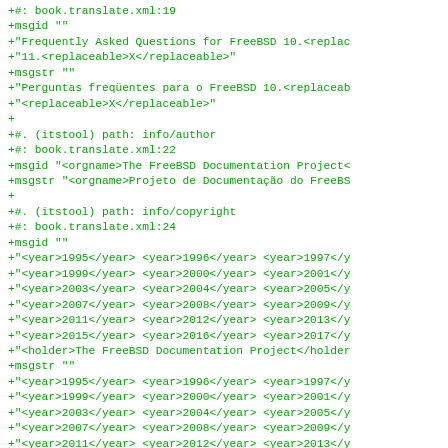+#: book.translate.xml:19
+msgid ""
+"Frequently Asked Questions for FreeBSD 10.<replac
+"11.<replaceable>X</replaceable>"
+msgstr ""
+"Perguntas freqüentes para o FreeBSD 10.<replaceab
+"<replaceable>X</replaceable>"
+
+#. (itstool) path: info/author
+#: book.translate.xml:22
+msgid "<orgname>The FreeBSD Documentation Project<
+msgstr "<orgname>Projeto de Documentação do FreeBS
+
+#. (itstool) path: info/copyright
+#: book.translate.xml:24
+msgid ""
+"<year>1995</year> <year>1996</year> <year>1997</y
+"<year>1999</year> <year>2000</year> <year>2001</y
+"<year>2003</year> <year>2004</year> <year>2005</y
+"<year>2007</year> <year>2008</year> <year>2009</y
+"<year>2011</year> <year>2012</year> <year>2013</y
+"<year>2015</year> <year>2016</year> <year>2017</y
+"<holder>The FreeBSD Documentation Project</holder
+msgstr ""
+"<year>1995</year> <year>1996</year> <year>1997</y
+"<year>1999</year> <year>2000</year> <year>2001</y
+"<year>2003</year> <year>2004</year> <year>2005</y
+"<year>2007</year> <year>2008</year> <year>2009</y
+"<year>2011</year> <year>2012</year> <year>2013</y
+"<year>2015</year> <year>2016</year> <year>2017</y